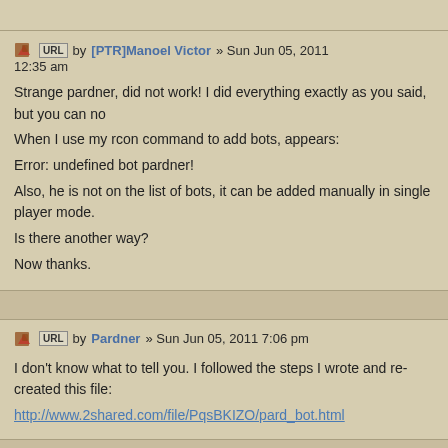by [PTR]Manoel Victor » Sun Jun 05, 2011 12:35 am
Strange pardner, did not work! I did everything exactly as you said, but you can no
When I use my rcon command to add bots, appears:
Error: undefined bot pardner!
Also, he is not on the list of bots, it can be added manually in single player mode.
Is there another way?
Now thanks.
by Pardner » Sun Jun 05, 2011 7:06 pm
I don't know what to tell you. I followed the steps I wrote and re-created this file:
http://www.2shared.com/file/PqsBKIZO/pard_bot.html